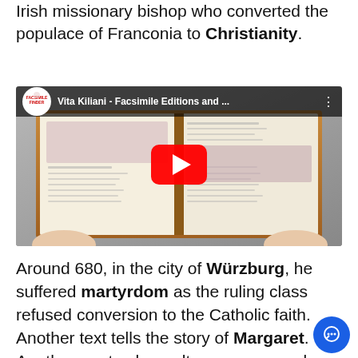Irish missionary bishop who converted the populace of Franconia to Christianity.
[Figure (screenshot): YouTube video thumbnail showing the Vita Kiliani manuscript facsimile — an open illuminated medieval book held by two hands, with text overlay 'Vita Kiliani - Facsimile Editions and ...' and a YouTube play button in the center. Facsimile Finder logo in top-left circle.]
Around 680, in the city of Würzburg, he suffered martyrdom as the ruling class refused conversion to the Catholic faith. Another text tells the story of Margaret. Another martyr, her cult was very popular